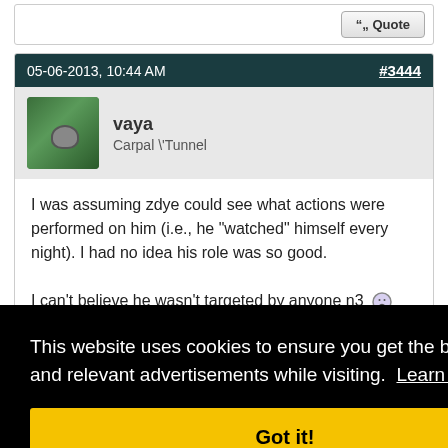Quote
05-06-2013, 10:44 AM   #3444
vaya
Carpal \'Tunnel
I was assuming zdye could see what actions were performed on him (i.e., he "watched" himself every night). I had no idea his role was so good.

I can't believe he wasn't targeted by anyone n3 :(
...ured
...ote
#3445
Carpal \'Tunnel
This website uses cookies to ensure you get the best experience and relevant advertisements while visiting.  Learn more
Got it!